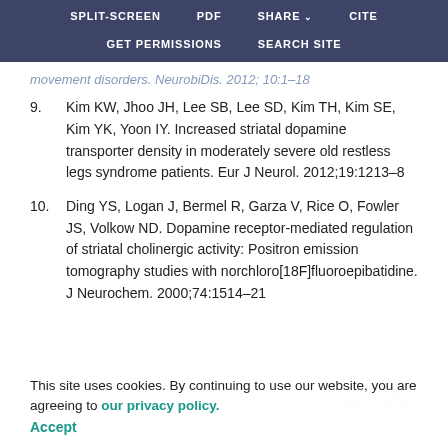SPLIT-SCREEN   PDF   SHARE   CITE   GET PERMISSIONS   SEARCH SITE
movement disorders. NeurobiDis. 2012; 10:1–18
9.    Kim KW, Jhoo JH, Lee SB, Lee SD, Kim TH, Kim SE, Kim YK, Yoon IY. Increased striatal dopamine transporter density in moderately severe old restless legs syndrome patients. Eur J Neurol. 2012;19:1213–8
10.    Ding YS, Logan J, Bermel R, Garza V, Rice O, Fowler JS, Volkow ND. Dopamine receptor-mediated regulation of striatal cholinergic activity: Positron emission tomography studies with norchloro[18F]fluoroepibatidine. J Neurochem. 2000;74:1514–21
This site uses cookies. By continuing to use our website, you are agreeing to our privacy policy. Accept